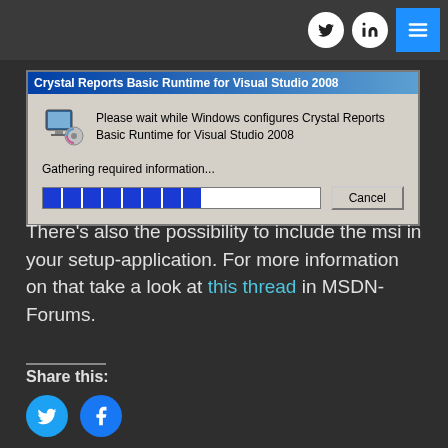Navigation bar with Twitter, LinkedIn, and menu icons
[Figure (screenshot): Windows installer dialog: 'Crystal Reports Basic Runtime for Visual Studio 2008' — 'Please wait while Windows configures Crystal Reports Basic Runtime for Visual Studio 2008' with progress bar and Cancel button. Status text: 'Gathering required information...']
There’s also the possibility to include the msi in your setup-application. For more information on that take a look at this thread in MSDN-Forums.
Share this: